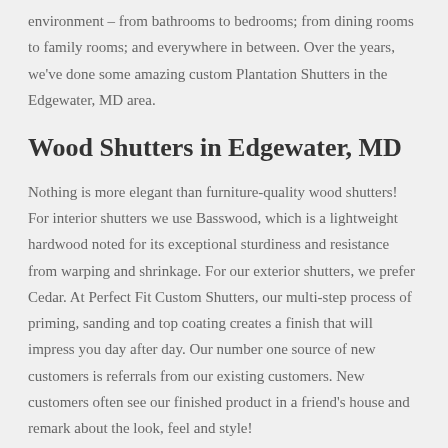environment – from bathrooms to bedrooms; from dining rooms to family rooms; and everywhere in between. Over the years, we've done some amazing custom Plantation Shutters in the Edgewater, MD area.
Wood Shutters in Edgewater, MD
Nothing is more elegant than furniture-quality wood shutters! For interior shutters we use Basswood, which is a lightweight hardwood noted for its exceptional sturdiness and resistance from warping and shrinkage. For our exterior shutters, we prefer Cedar. At Perfect Fit Custom Shutters, our multi-step process of priming, sanding and top coating creates a finish that will impress you day after day. Our number one source of new customers is referrals from our existing customers. New customers often see our finished product in a friend's house and remark about the look, feel and style!